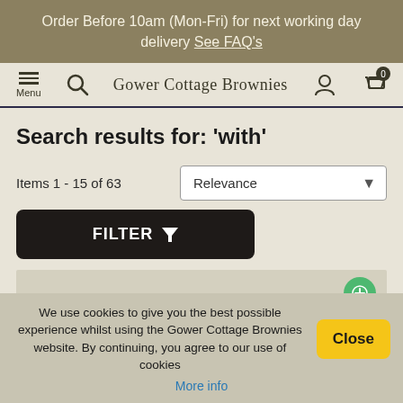Order Before 10am (Mon-Fri) for next working day delivery See FAQ's
[Figure (screenshot): Navigation bar with hamburger menu, search icon, Gower Cottage Brownies logo, account icon, and cart icon with 0 badge]
Search results for: 'with'
Items 1 - 15 of 63
Relevance
FILTER
We use cookies to give you the best possible experience whilst using the Gower Cottage Brownies website. By continuing, you agree to our use of cookies
More info